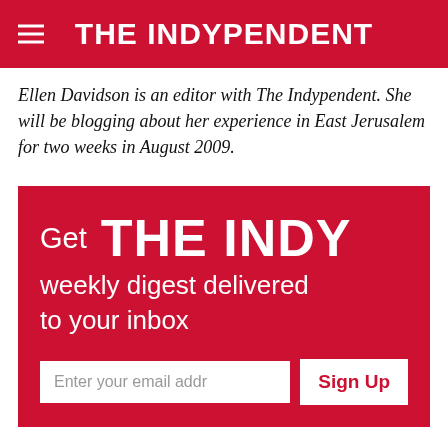THE INDYPENDENT
Ellen Davidson is an editor with The Indypendent. She will be blogging about her experience in East Jerusalem for two weeks in August 2009.
[Figure (infographic): Red promotional banner reading 'Get THE INDY weekly digest delivered to your inbox' with an email input field and Sign Up button]